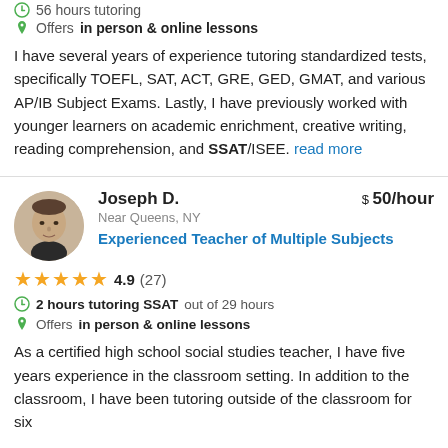56 hours tutoring
Offers in person & online lessons
I have several years of experience tutoring standardized tests, specifically TOEFL, SAT, ACT, GRE, GED, GMAT, and various AP/IB Subject Exams. Lastly, I have previously worked with younger learners on academic enrichment, creative writing, reading comprehension, and SSAT/ISEE. read more
[Figure (photo): Circular avatar photo of Joseph D., a man wearing a dark turtleneck]
Joseph D.
$ 50/hour
Near Queens, NY
Experienced Teacher of Multiple Subjects
4.9 (27)
2 hours tutoring SSAT out of 29 hours
Offers in person & online lessons
As a certified high school social studies teacher, I have five years experience in the classroom setting. In addition to the classroom, I have been tutoring outside of the classroom for six